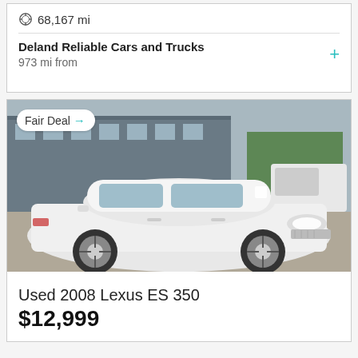68,167 mi
Deland Reliable Cars and Trucks
973 mi from
[Figure (photo): White 2008 Lexus ES 350 sedan parked at a dealership lot, front three-quarter view. A 'Fair Deal' badge overlay appears in the upper left of the photo.]
Used 2008 Lexus ES 350
$12,999